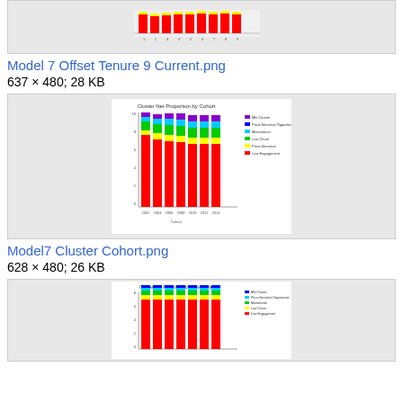[Figure (stacked-bar-chart): Partial stacked bar chart visible at top of page, appears to show colored bars (red, yellow) with x-axis labels]
Model 7 Offset Tenure 9 Current.png
637 × 480; 28 KB
[Figure (stacked-bar-chart): Cluster Net Proportion by Cohort stacked bar chart with multiple colored segments (purple, blue, green, yellow, red) across multiple cohort years, with legend on right]
Model7 Cluster Cohort.png
628 × 480; 26 KB
[Figure (stacked-bar-chart): Cluster Net Proportion by Offset Year stacked bar chart with multiple colored segments (blue, green, yellow, red) across multiple years, with legend on right, partially visible]